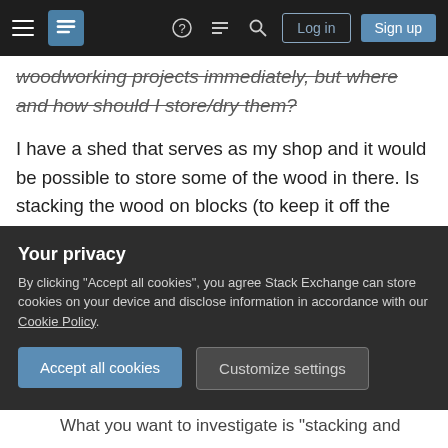Stack Exchange navigation bar with hamburger menu, logo, help, chat, search icons, Log in and Sign up buttons
woodworking projects immediately, but where and how should I store/dry them?
I have a shed that serves as my shop and it would be possible to store some of the wood in there. Is stacking the wood on blocks (to keep it off the ground) and covering with a tarp a reasonable answer? How should I properly space the wood while it dries? How long does it need to dry before I can use it?
green-wood
storage
wood-drying
Your privacy
By clicking "Accept all cookies", you agree Stack Exchange can store cookies on your device and disclose information in accordance with our Cookie Policy.
Accept all cookies
Customize settings
What you want to investigate is "stacking and